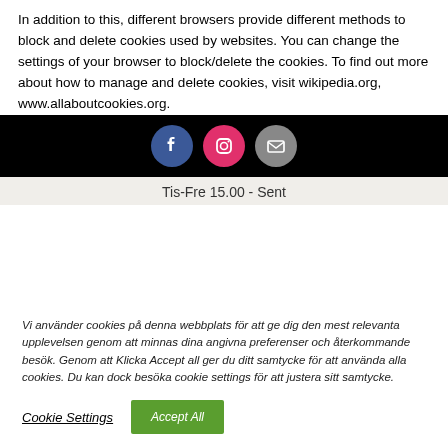In addition to this, different browsers provide different methods to block and delete cookies used by websites. You can change the settings of your browser to block/delete the cookies. To find out more about how to manage and delete cookies, visit wikipedia.org, www.allaboutcookies.org.
[Figure (illustration): Three social media icons: Facebook (blue circle with f), Instagram (pink circle with camera), and email (grey circle with envelope), displayed on a black background banner]
Tis-Fre 15.00 - Sent
Vi använder cookies på denna webbplats för att ge dig den mest relevanta upplevelsen genom att minnas dina angivna preferenser och återkommande besök. Genom att Klicka Accept all ger du ditt samtycke för att använda alla cookies. Du kan dock besöka cookie settings för att justera sitt samtycke.
Cookie Settings | Accept All